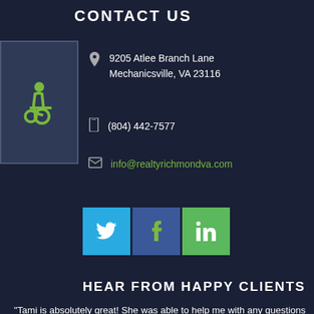CONTACT US
[Figure (illustration): Wheelchair accessibility icon in green on dark blue square background]
9205 Atlee Branch Lane
Mechanicsville, VA 23116
(804) 442-7577
info@realtyrichmondva.com
[Figure (infographic): Social media buttons: Twitter (cyan), Facebook (dark blue), LinkedIn (green)]
HEAR FROM HAPPY CLIENTS
"Tami is absolutely great! She was able to help me with any questions that I asked and she was always available when I needed her. This was my first time purchasing a